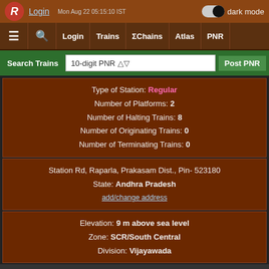Login | Mon Aug 22 05:15:10 IST | dark mode
≡  🔍  Login  Trains  ΣChains  Atlas  PNR
Search Trains | 10-digit PNR | Post PNR
Type of Station: Regular
Number of Platforms: 2
Number of Halting Trains: 8
Number of Originating Trains: 0
Number of Terminating Trains: 0
Station Rd, Raparla, Prakasam Dist., Pin- 523180
State: Andhra Pradesh
add/change address
Elevation: 9 m above sea level
Zone: SCR/South Central
Division: Vijayawada
No Recent News for RPRL/Raparla Halt
Nearby Stations in the News
Scroll to...